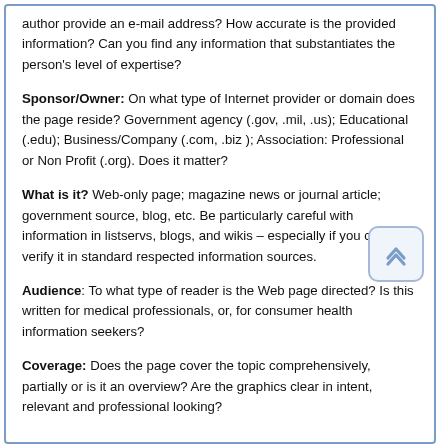author provide an e-mail address? How accurate is the provided information? Can you find any information that substantiates the person's level of expertise?
Sponsor/Owner: On what type of Internet provider or domain does the page reside? Government agency (.gov, .mil, .us); Educational (.edu); Business/Company (.com, .biz ); Association: Professional or Non Profit (.org). Does it matter?
What is it? Web-only page; magazine news or journal article; government source, blog, etc. Be particularly careful with information in listservs, blogs, and wikis – especially if you cannot verify it in standard respected information sources.
Audience: To what type of reader is the Web page directed? Is this written for medical professionals, or, for consumer health information seekers?
Coverage: Does the page cover the topic comprehensively, partially or is it an overview? Are the graphics clear in intent, relevant and professional looking?